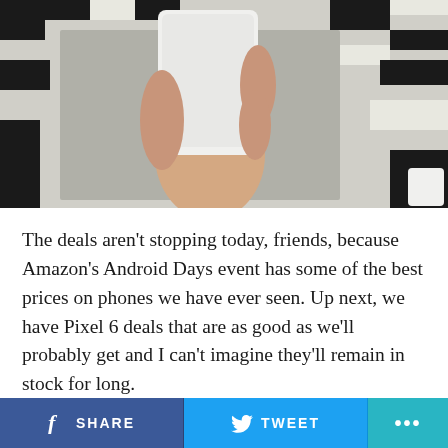[Figure (photo): A hand holding a white smartphone against a black and white geometric patterned background]
The deals aren’t stopping today, friends, because Amazon’s Android Days event has some of the best prices on phones we have ever seen. Up next, we have Pixel 6 deals that are as good as we’ll probably get and I can’t imagine they’ll remain in stock for long.
For Pixel 6 Pro fans, you can grab the 128GB model for as little as $616. As a $900 phone, yes, that’s a $284 discount. That’s an incredible price for a phone this good.
SHARE   TWEET   ...